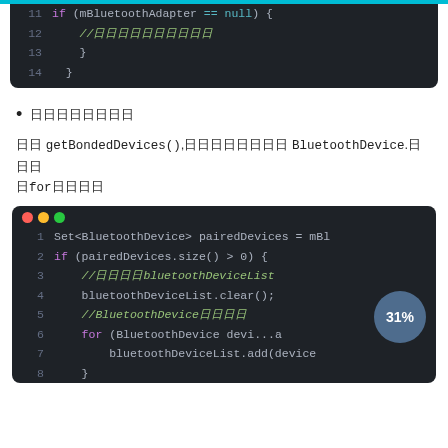[Figure (screenshot): Code editor screenshot showing lines 11-14 of Java/Android Bluetooth code: if (mBluetoothAdapter == null) { //comment } }]
已配对设备列表
调用 getBondedDevices(),获取已配对的 BluetoothDevice.并用for循环遍历
[Figure (screenshot): Code editor screenshot showing lines 1-8 of Java/Android code for getting paired Bluetooth devices using getBondedDevices(), checking size, clearing bluetoothDeviceList, and iterating with for loop.]